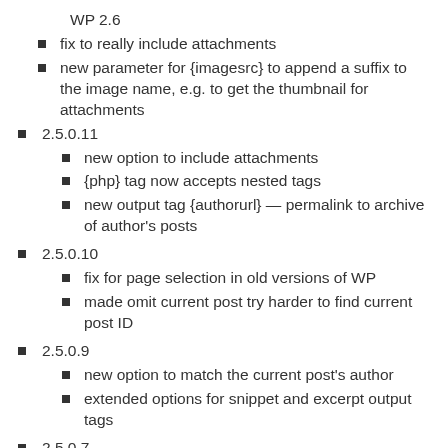WP 2.6
fix to really include attachments
new parameter for {imagesrc} to append a suffix to the image name, e.g. to get the thumbnail for attachments
2.5.0.11
new option to include attachments
{php} tag now accepts nested tags
new output tag {authorurl} — permalink to archive of author's posts
2.5.0.10
fix for page selection in old versions of WP
made omit current post try harder to find current post ID
2.5.0.9
new option to match the current post's author
extended options for snippet and excerpt output tags
2.5.0.7